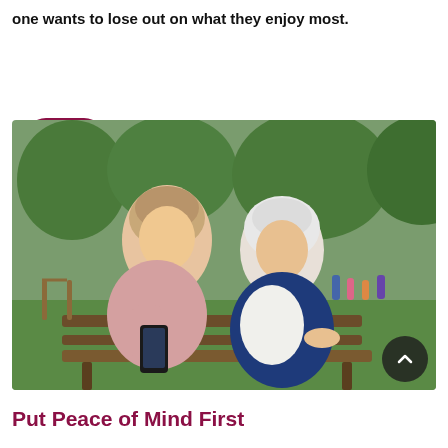one wants to lose out on what they enjoy most.
READ MORE
[Figure (photo): A young woman and an elderly woman sitting on a park bench together, looking at a smartphone. They are outdoors in a green park setting with trees and people in the background.]
Put Peace of Mind First